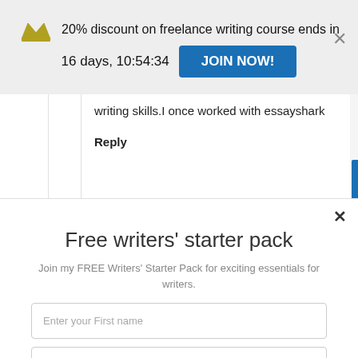20% discount on freelance writing course ends in 16 days, 10:54:34  JOIN NOW!
writing skills.I once worked with essayshark
Reply
Free writers' starter pack
Join my FREE Writers' Starter Pack for exciting essentials for writers.
Enter your First name
Enter your Email
SUBSCRIBE NOW